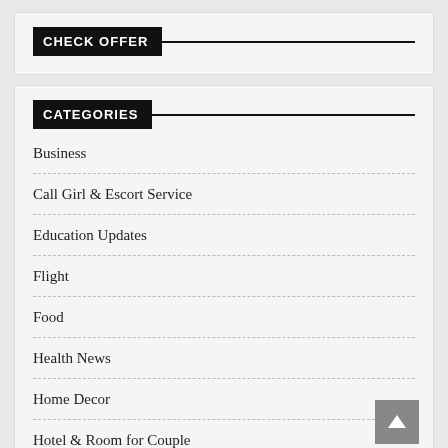CHECK OFFER
CATEGORIES
Business
Call Girl & Escort Service
Education Updates
Flight
Food
Health News
Home Decor
Hotel & Room for Couple